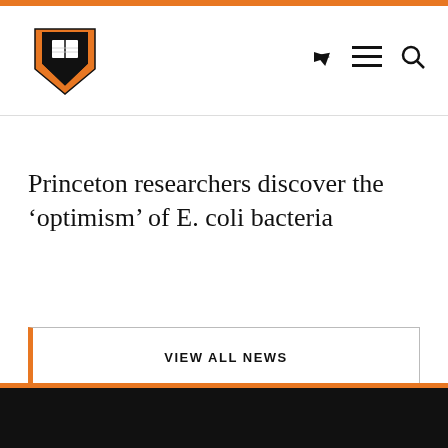Princeton University — navigation header with logo, share, menu, and search icons
Princeton researchers discover the ‘optimism’ of E. coli bacteria
VIEW ALL NEWS